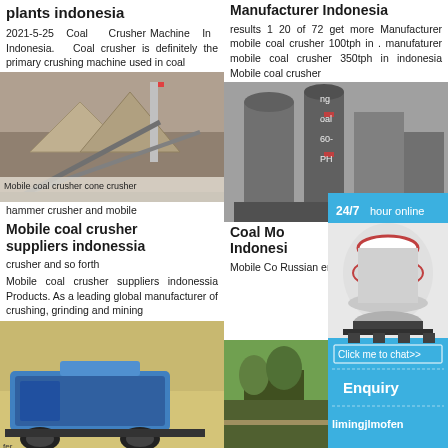plants indonesia
2021-5-25 Coal Crusher Machine In Indonesia. Coal crusher is definitely the primary crushing machine used in coal
[Figure (photo): Industrial coal crushing plant with large metal structures and conveyor systems]
coal of ers nd ng her Mobile coal crusher hammer crusher and mobile suppliers indonessia crusher and so forth
Mobile coal crusher suppliers indonessia
Mobile coal crusher suppliers indonessia Products. As a leading global manufacturer of crushing, grinding and mining
[Figure (photo): Blue mobile coal crusher machine on tracks outdoors]
Manufacturer Indonesia
results 1 20 of 72 get more Manufacturer mobile coal crusher 100tph in . manufaturer mobile coal crusher 350tph in indonesia Mobile coal crusher
[Figure (photo): Industrial coal crusher machinery with vertical cylinder tanks]
ng oal 60- PH
Coal Mo Indonesia
Mobile Co Russian environme appendix
[Figure (infographic): Chat widget showing 24/7 hour online service with cone crusher image, Click me to chat>> button, Enquiry section, and limingjlmofen text]
[Figure (photo): Outdoor landscape with trees and road, bottom right of page]